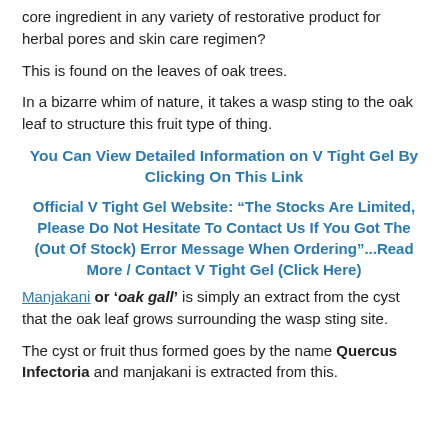core ingredient in any variety of restorative product for herbal pores and skin care regimen?
This is found on the leaves of oak trees.
In a bizarre whim of nature, it takes a wasp sting to the oak leaf to structure this fruit type of thing.
You Can View Detailed Information on V Tight Gel By Clicking On This Link
Official V Tight Gel Website: “The Stocks Are Limited, Please Do Not Hesitate To Contact Us If You Got The (Out Of Stock) Error Message When Ordering”...Read More / Contact V Tight Gel (Click Here)
Manjakani or ‘oak gall’ is simply an extract from the cyst that the oak leaf grows surrounding the wasp sting site.
The cyst or fruit thus formed goes by the name Quercus Infectoria and manjakani is extracted from this.